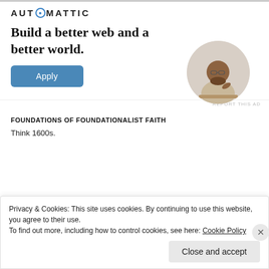[Figure (logo): Automattic logo with stylized 'O' in a circle with blue dot]
Build a better web and a better world.
[Figure (photo): Circular photo of a man in a beige t-shirt, smiling, resting his chin on his hand, looking upward]
Apply
REPORT THIS AD
FOUNDATIONS OF FOUNDATIONALIST FAITH
Think 1600s.
Privacy & Cookies: This site uses cookies. By continuing to use this website, you agree to their use.
To find out more, including how to control cookies, see here: Cookie Policy
Close and accept